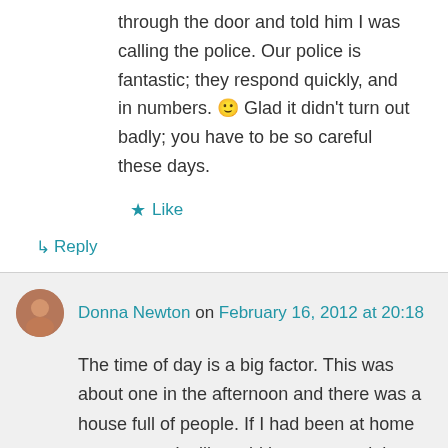through the door and told him I was calling the police. Our police is fantastic; they respond quickly, and in numbers. 🙂 Glad it didn't turn out badly; you have to be so careful these days.
★ Like
↳ Reply
Donna Newton on February 16, 2012 at 20:18
The time of day is a big factor. This was about one in the afternoon and there was a house full of people. If I had been at home on my own, I still would have opened the door – even though my front door cannot be seen from the lane (road).